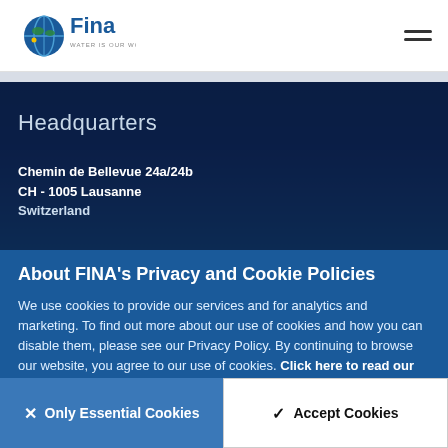[Figure (logo): FINA logo with globe graphic and text 'Fina' and tagline 'water is our world']
Headquarters
Chemin de Bellevue 24a/24b
CH - 1005 Lausanne
Switzerland
About FINA's Privacy and Cookie Policies
We use cookies to provide our services and for analytics and marketing. To find out more about our use of cookies and how you can disable them, please see our Privacy Policy. By continuing to browse our website, you agree to our use of cookies. Click here to read our privacy policy.